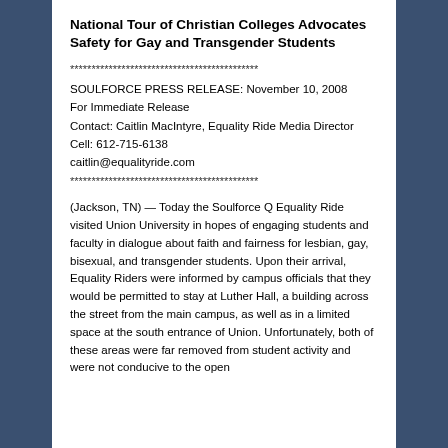National Tour of Christian Colleges Advocates Safety for Gay and Transgender Students
********************************************
SOULFORCE PRESS RELEASE: November 10, 2008
For Immediate Release
Contact: Caitlin MacIntyre, Equality Ride Media Director
Cell: 612-715-6138
caitlin@equalityride.com
********************************************
(Jackson, TN) — Today the Soulforce Q Equality Ride visited Union University in hopes of engaging students and faculty in dialogue about faith and fairness for lesbian, gay, bisexual, and transgender students. Upon their arrival, Equality Riders were informed by campus officials that they would be permitted to stay at Luther Hall, a building across the street from the main campus, as well as in a limited space at the south entrance of Union. Unfortunately, both of these areas were far removed from student activity and were not conducive to the open